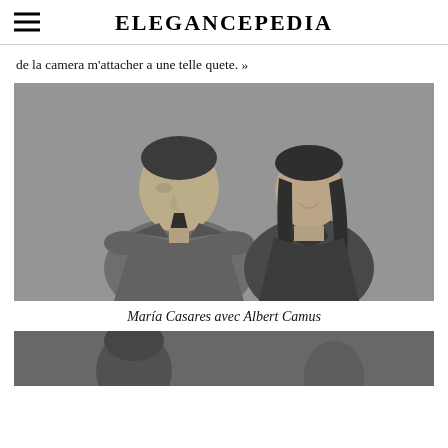ELEGANCEPEDIA
de la camera m'attacher a une telle quete. »
[Figure (photo): Black and white photograph of María Casares with Albert Camus, facing each other]
María Casares avec Albert Camus
[Figure (photo): Black and white photograph, partially visible, bottom of page]